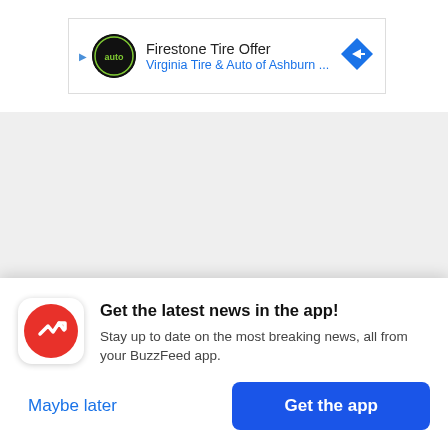[Figure (screenshot): Ad banner for Firestone Tire Offer by Virginia Tire & Auto of Ashburn, with auto logo and blue diamond navigation icon]
[Figure (screenshot): Gray placeholder area for advertisement or media content]
"I have had the privilege of working with Mayor
[Figure (screenshot): BuzzFeed app promotion modal with red BuzzFeed logo icon, title 'Get the latest news in the app!', description text, Maybe later link and Get the app button]